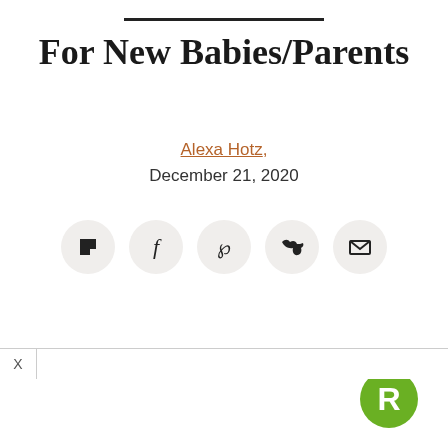For New Babies/Parents
Alexa Hotz, December 21, 2020
[Figure (infographic): Row of five circular social share buttons: Flipboard, Facebook, Pinterest, Twitter, Email]
[Figure (logo): Green circular R logo (Realsimple or similar brand) in bottom right corner]